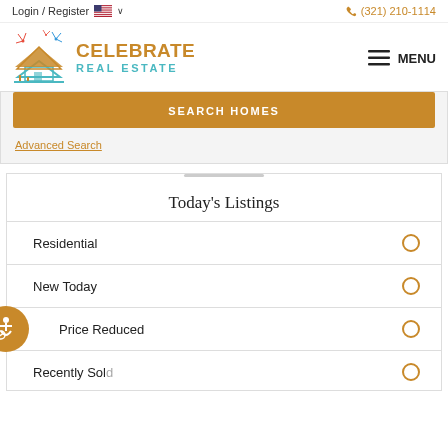Login / Register   🇺🇸 ∨   (321) 210-1114
[Figure (logo): Celebrate Real Estate logo with house and fireworks illustration, brand name 'CELEBRATE REAL ESTATE' in gold and teal]
SEARCH HOMES
Advanced Search
Today's Listings
Residential
New Today
Price Reduced
Recently Sold